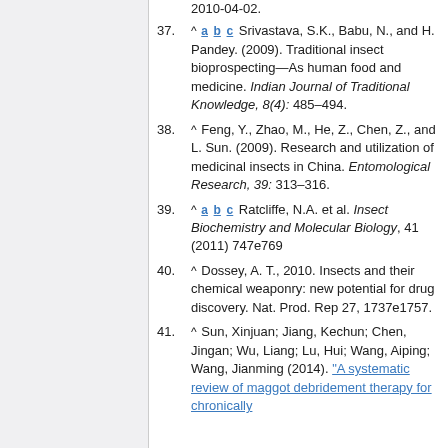2010-04-02.
37. ^ a b c Srivastava, S.K., Babu, N., and H. Pandey. (2009). Traditional insect bioprospecting—As human food and medicine. Indian Journal of Traditional Knowledge, 8(4): 485–494.
38. ^ Feng, Y., Zhao, M., He, Z., Chen, Z., and L. Sun. (2009). Research and utilization of medicinal insects in China. Entomological Research, 39: 313–316.
39. ^ a b c Ratcliffe, N.A. et al. Insect Biochemistry and Molecular Biology, 41 (2011) 747e769
40. ^ Dossey, A. T., 2010. Insects and their chemical weaponry: new potential for drug discovery. Nat. Prod. Rep 27, 1737e1757.
41. ^ Sun, Xinjuan; Jiang, Kechun; Chen, Jingan; Wu, Liang; Lu, Hui; Wang, Aiping; Wang, Jianming (2014). "A systematic review of maggot debridement therapy for chronically..."